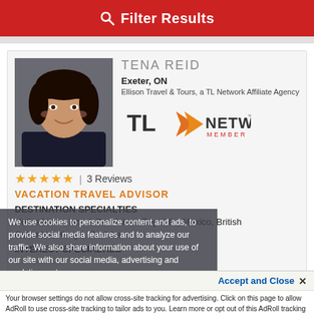Filter Results
[Figure (photo): Headshot photo of Tena Reid, a woman with dark hair, smiling, wearing dark clothing]
TENA REID
Exeter, ON
Ellison Travel & Tours, a TL Network Affiliate Agency
[Figure (logo): TL Network Member logo with orange arrow graphic]
★★★★★ | 3 Reviews
VACATION TRAVEL ADVISOR
DESTINATION SPECIALTIES
Netherlands, Israel, Dominican Republic, Mexico, British Columbia, Kenya, Caribbean
INTEREST SPECIALTIES
We use cookies to personalize content and ads, to provide social media features and to analyze our traffic. We also share information about your use of our site with our social media, advertising and analytics partners.
Accept and Close ✕
Your browser settings do not allow cross-site tracking for advertising. Click on this page to allow AdRoll to use cross-site tracking to tailor ads to you. Learn more or opt out of this AdRoll tracking by clicking here. This message only appears once.